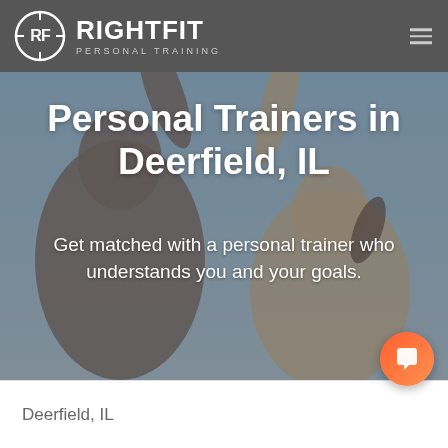RightFit Personal Training
[Figure (photo): Two people high-fiving outdoors against a sky background, smiling, fitness/workout context]
Personal Trainers in Deerfield, IL
Get matched with a personal trainer who understands you and your goals.
Deerfield, IL